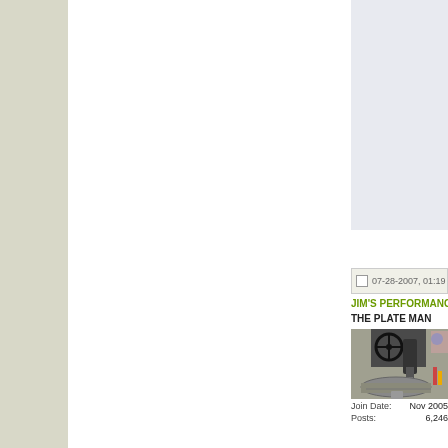07-28-2007, 01:19 PM
JIM'S PERFORMANCE
THE PLATE MAN
[Figure (photo): Photo of a metal working machine/press tool working on a metal plate, workshop setting]
Join Date:
Nov 2005
Posts:
6,246